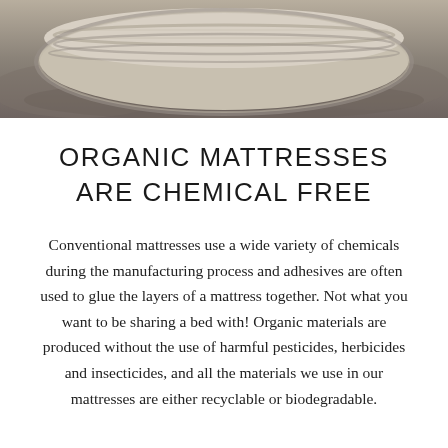[Figure (photo): Close-up photograph of an organic mattress with layered cotton/wool filling visible, resting on sandy/earthy ground, viewed from above at an angle.]
ORGANIC MATTRESSES ARE CHEMICAL FREE
Conventional mattresses use a wide variety of chemicals during the manufacturing process and adhesives are often used to glue the layers of a mattress together. Not what you want to be sharing a bed with! Organic materials are produced without the use of harmful pesticides, herbicides and insecticides, and all the materials we use in our mattresses are either recyclable or biodegradable.